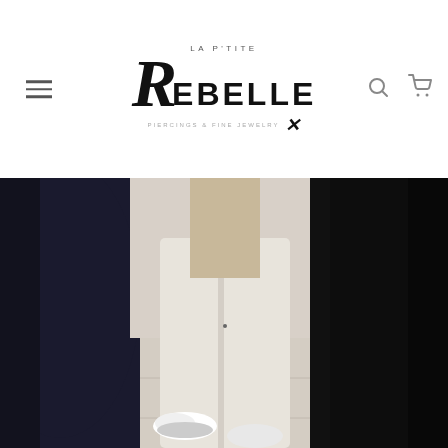[Figure (logo): La P'tite Rebelle logo with stylized R and subtitle PIERCINGS & FINE JEWELRY with X mark]
[Figure (photo): Fashion photo showing lower halves of people walking: one in black outfit on left, one in white/cream pants and white sneakers in center, one in black on right. Tile floor visible.]